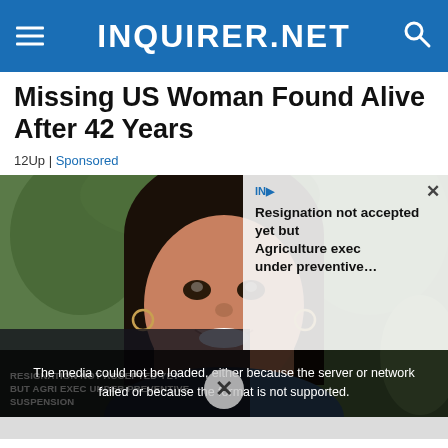INQUIRER.NET
Missing US Woman Found Alive After 42 Years
12Up | Sponsored
[Figure (photo): Photo of a smiling woman with long dark hair and hoop earrings, with greenery in the background. Overlaid with a media error message: 'The media could not be loaded, either because the server or network failed or because the format is not supported.' Also overlaid with a related news thumbnail about 'Resignation not accepted yet but Agriculture exec under preventive...' and a thumbnail caption 'RESIGNATION NOT ACCEPTED YET BUT AGRI EXEC UNDER PREVENTIVE SUSPENSION']